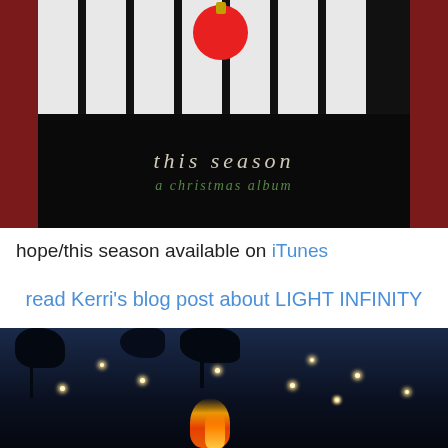[Figure (photo): Christmas album cover showing piano keys with a red ornament, titled 'this season a christmas album', set against a dark red background]
hope/this season available on iTunes
read Kerri's blog post about LIGHT INFINITY
[Figure (photo): Outdoor night photo showing string lights hanging among dark trees with a fire in the foreground]